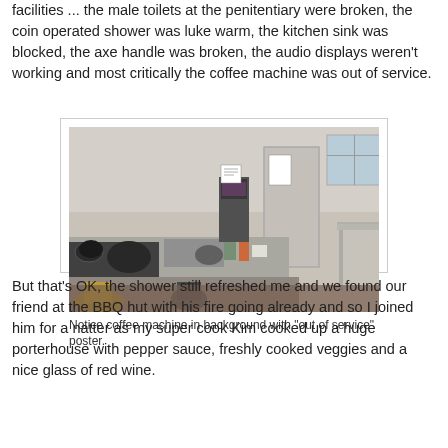facilities ... the male toilets at the penitentiary were broken, the coin operated shower was luke warm, the kitchen sink was blocked, the axe handle was broken, the audio displays weren't working and most critically the coffee machine was out of service.
[Figure (photo): A prison or institutional kitchen showing a cluttered stainless steel counter with pots, pans, and various food items. In the background is a coffee machine with an 'out of service' poster on it, a metal table, and a window.]
Notice coffee machine in background with "out of service" poster.
But that's OK, the shower still refreshed me and we found our friend at the BBQ hut with his fire going already and so I joined him for a natter as my super cook Kim cooked up a huge porterhouse with pepper sauce, freshly cooked veggies and a nice glass of red wine.